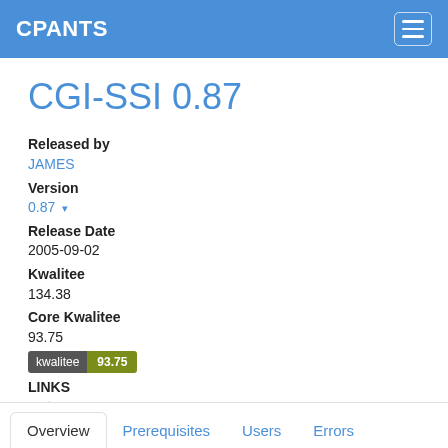CPANTS
CGI-SSI 0.87
Released by
JAMES
Version
0.87
Release Date
2005-09-02
Kwalitee
134.38
Core Kwalitee
93.75
[Figure (other): Kwalitee badge showing 93.75]
LINKS
metacpan.org
bugtracker (rt.cpan.org)
Overview  Prerequisites  Users  Errors